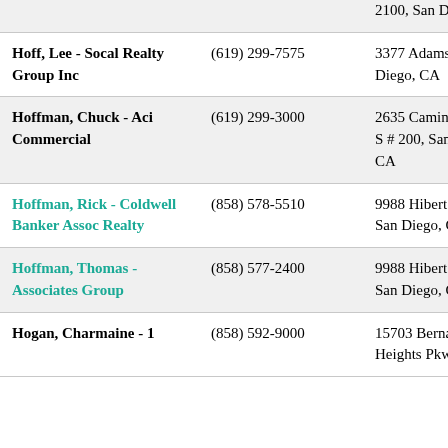| Name | Phone | Address |
| --- | --- | --- |
| Hoff, Lee - Socal Realty Group Inc | (619) 299-7575 | 3377 Adams Ave, San Diego, CA |
| Hoffman, Chuck - Aci Commercial | (619) 299-3000 | 2635 Camino Del Rio S # 200, San Diego, CA |
| Hoffman, Rick - Coldwell Banker Assoc Realty | (858) 578-5510 | 9988 Hibert St # 100, San Diego, CA |
| Hoffman, Thomas - Associates Group | (858) 577-2400 | 9988 Hibert St # 300, San Diego, CA |
| Hogan, Charmaine - 1 | (858) 592-9000 | 15703 Bernardo Heights Pkwy |